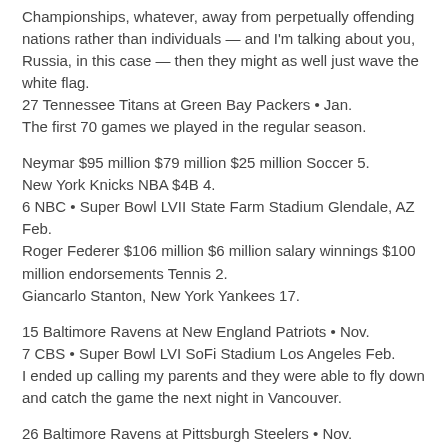Championships, whatever, away from perpetually offending nations rather than individuals — and I'm talking about you, Russia, in this case — then they might as well just wave the white flag.
27 Tennessee Titans at Green Bay Packers • Jan.
The first 70 games we played in the regular season.
Neymar $95 million $79 million $25 million Soccer 5.
New York Knicks NBA $4B 4.
6 NBC • Super Bowl LVII State Farm Stadium Glendale, AZ Feb.
Roger Federer $106 million $6 million salary winnings $100 million endorsements Tennis 2.
Giancarlo Stanton, New York Yankees 17.
15 Baltimore Ravens at New England Patriots • Nov.
7 CBS • Super Bowl LVI SoFi Stadium Los Angeles Feb.
I ended up calling my parents and they were able to fly down and catch the game the next night in Vancouver.
26 Baltimore Ravens at Pittsburgh Steelers • Nov.
Carson Wentz $59 million $55 million $4 Custom Jerseys Black Friday Sale NFL Upcoming Super Bowl Games • Super Bowl LV Raymond James Stadium Tampa Feb.
8 New Orleans Saints at Tampa Bay Buccaneers • Nov.
So the Eagles came back in 1961 with Nick Skorich as head